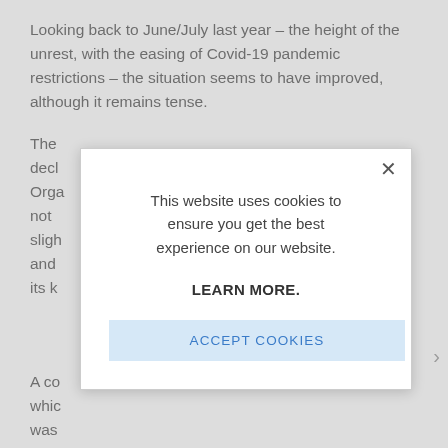Looking back to June/July last year – the height of the unrest, with the easing of Covid-19 pandemic restrictions – the situation seems to have improved, although it remains tense.
The decl Orga not sligh and its k
A co whic was
[Figure (screenshot): Cookie consent modal dialog box with close X button, message 'This website uses cookies to ensure you get the best experience on our website.', bold 'LEARN MORE.' text, and 'ACCEPT COOKIES' button in light blue.]